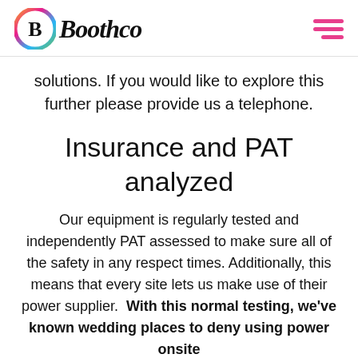[Figure (logo): Boothco logo with colorful circular icon and italic bold text 'Boothco']
solutions. If you would like to explore this further please provide us a telephone.
Insurance and PAT analyzed
Our equipment is regularly tested and independently PAT assessed to make sure all of the safety in any respect times. Additionally, this means that every site lets us make use of their power supplier.  With this normal testing, we've known wedding places to deny using power onsite